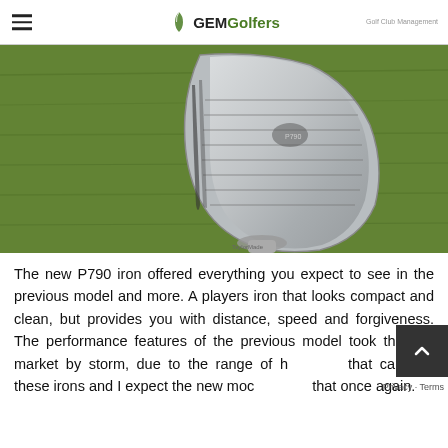GEMGolfers
[Figure (photo): Close-up photo of a TaylorMade P790 golf iron club head resting on green grass, showing the chrome/silver face and hosel from above at an angle.]
The new P790 iron offered everything you expect to see in the previous model and more. A players iron that looks compact and clean, but provides you with distance, speed and forgiveness. The performance features of the previous model took the golf market by storm, due to the range of h that can use these irons and I expect the new moc that once again.